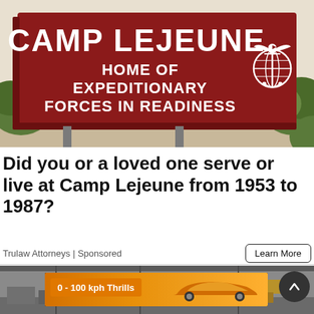[Figure (illustration): Illustrated Camp Lejeune entrance sign reading 'CAMP LEJEUNE HOME OF EXPEDITIONARY FORCES IN READINESS' with Marine Corps Eagle Globe and Anchor emblem on a dark red/maroon sign, surrounded by illustrated green trees and sandy ground.]
Did you or a loved one serve or live at Camp Lejeune from 1953 to 1987?
Trulaw Attorneys | Sponsored
[Figure (screenshot): Partial screenshot of a warehouse/industrial interior photo, partially obscured, with a circular scroll-up button overlay and a banner advertisement showing an orange SUV car with text '0 - 100 kph Thrills' on an orange label.]